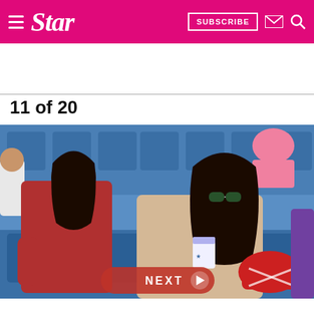Star — SUBSCRIBE
11 of 20
[Figure (photo): Two women sitting in blue stadium seats at what appears to be a tennis event. The woman on the left wears a red dress and has long dark hair. The woman on the right wears sunglasses and a beige outfit, holding a cup. A red bag is visible. Other spectators visible in background.]
NEXT